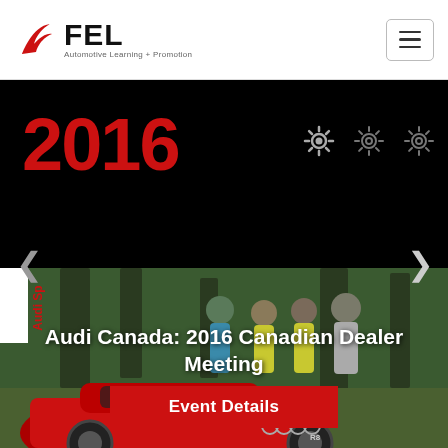FEL Automotive Learning + Promotion
2016
[Figure (photo): Outdoor photo of four people in golf attire standing together on a golf course with tall pine trees in the background, overlaid with a red sports car (Audi R8) in the foreground. Text overlay reads 'Audi Canada: 2016 Canadian Dealer Meeting' with an 'Event Details' button below.]
Audi Canada: 2016 Canadian Dealer Meeting
Event Details